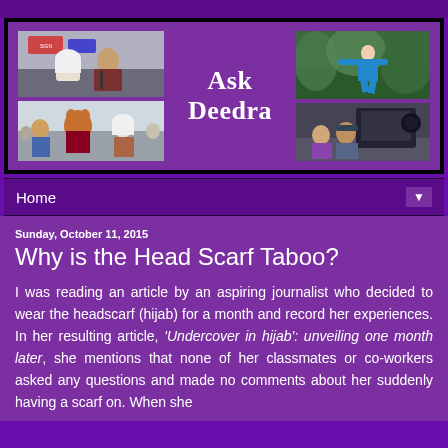[Figure (photo): Blog header banner 'Ask Deedra' with four photos arranged on purple background: top-left shows a couple (woman in hijab and man), bottom-left shows people with a mascot character, top-right shows person in blue jumping/flying against green foliage, bottom-right shows couple sitting outdoors.]
Home
Sunday, October 11, 2015
Why is the Head Scarf Taboo?
I was reading an article by an aspiring journalist who decided to wear the headscarf (hijab) for a month and record her experiences. In her resulting article, 'Undercover in hijab': unveiling one month later, she mentions that none of her classmates or co-workers asked any questions and made no comments about her suddenly having a scarf on. When she